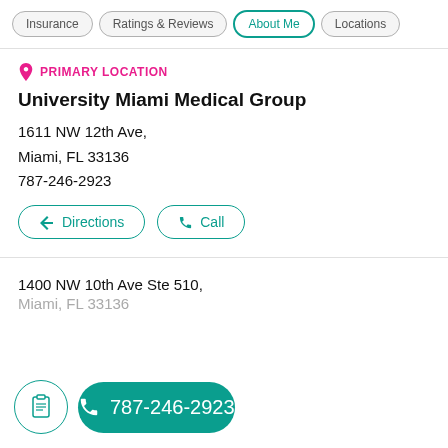Insurance | Ratings & Reviews | About Me | Locations
PRIMARY LOCATION
University Miami Medical Group
1611 NW 12th Ave,
Miami, FL 33136
787-246-2923
Directions   Call
1400 NW 10th Ave Ste 510,
Miami, FL 33136
787-246-2923